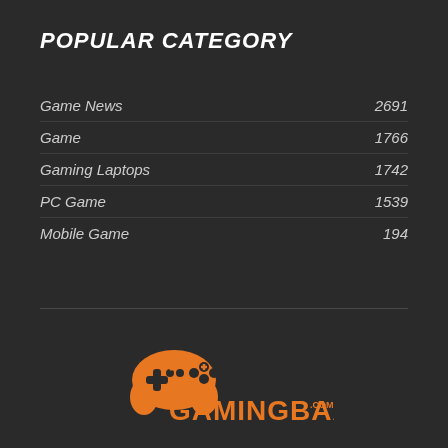POPULAR CATEGORY
Game News  2691
Game  1766
Gaming Laptops  1742
PC Game  1539
Mobile Game  194
[Figure (logo): GamingBaaz.com logo with orange game controller icon and orange text]